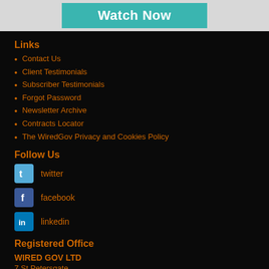[Figure (other): Watch Now button on teal/turquoise background]
Links
Contact Us
Client Testimonials
Subscriber Testimonials
Forgot Password
Newsletter Archive
Contracts Locator
The WiredGov Privacy and Cookies Policy
Follow Us
twitter
facebook
linkedin
Registered Office
WIRED GOV LTD
7 St Petersgate, Stockport, Cheshire SK1 1EB